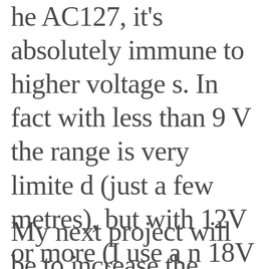he AC127, it's absolutely immune to higher voltages. In fact with less than 9V the range is very limited (just a few metres), but with 12V or more (I use an 18V power supply at the moment, for best results[↑]
My next project will be to increase the voltage to 24